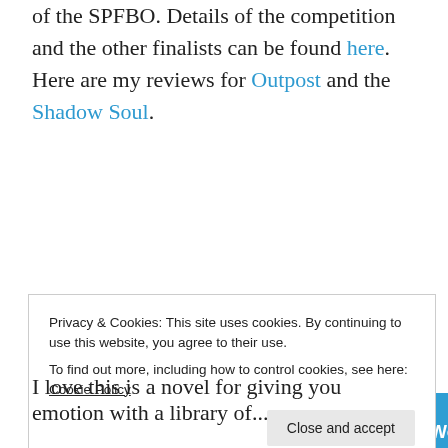of the SPFBO.  Details of the competition and the other finalists can be found here.  Here are my reviews for Outpost and the Shadow Soul.
[Figure (screenshot): Advertisement for Pressable WordPress hosting service. Blue background with white bold text: 'When your WordPress site needs speed, you need' followed by the Pressable logo (P icon and name in white). A green underline and a person diving/flying with a laptop in the lower right.]
Privacy & Cookies: This site uses cookies. By continuing to use this website, you agree to their use.
To find out more, including how to control cookies, see here: Cookie Policy
Close and accept
I love this is a novel for giving you emotion with a library of...